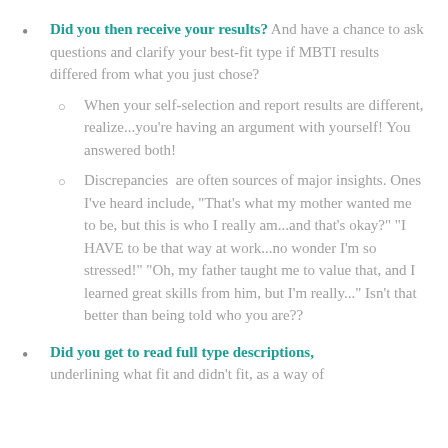Did you then receive your results? And have a chance to ask questions and clarify your best-fit type if MBTI results differed from what you just chose?
When your self-selection and report results are different, realize...you’re having an argument with yourself! You answered both!
Discrepancies are often sources of major insights. Ones I’ve heard include, “That’s what my mother wanted me to be, but this is who I really am...and that’s okay?” “I HAVE to be that way at work...no wonder I’m so stressed!” “Oh, my father taught me to value that, and I learned great skills from him, but I’m really...” Isn’t that better than being told who you are??
Did you get to read full type descriptions, underlining what fit and didn’t fit, as a way of